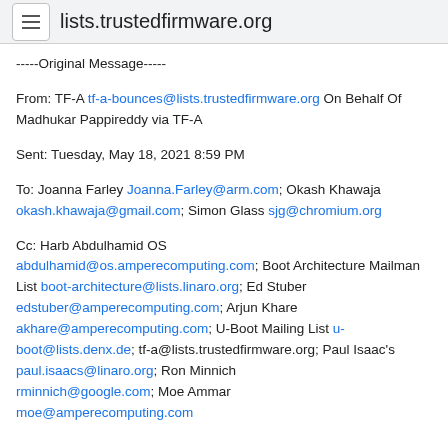lists.trustedfirmware.org
-----Original Message-----
From: TF-A tf-a-bounces@lists.trustedfirmware.org On Behalf Of Madhukar Pappireddy via TF-A
Sent: Tuesday, May 18, 2021 8:59 PM
To: Joanna Farley Joanna.Farley@arm.com; Okash Khawaja okash.khawaja@gmail.com; Simon Glass sjg@chromium.org
Cc: Harb Abdulhamid OS abdulhamid@os.amperecomputing.com; Boot Architecture Mailman List boot-architecture@lists.linaro.org; Ed Stuber edstuber@amperecomputing.com; Arjun Khare akhare@amperecomputing.com; U-Boot Mailing List u-boot@lists.denx.de; tf-a@lists.trustedfirmware.org; Paul Isaac's paul.isaacs@linaro.org; Ron Minnich rminnich@google.com; Moe Ammar moe@amperecomputing.com